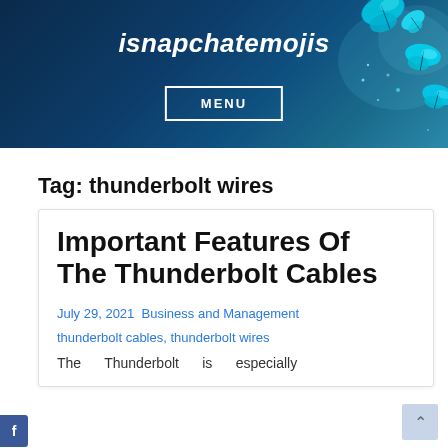isnapchatemojis
[Figure (illustration): Decorative cyan/blue butterflies in top-right corner of header banner]
MENU
Tag: thunderbolt wires
Important Features Of The Thunderbolt Cables
July 29, 2021 Business and Management
thunderbolt cables, thunderbolt wires
The Thunderbolt is especially